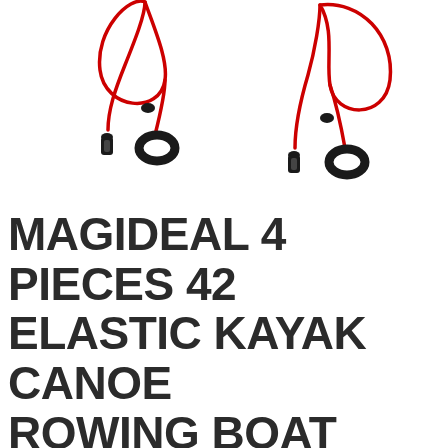[Figure (photo): Two red elastic kayak paddle leashes with black clips and rubber ring holders on a white background.]
MAGIDEAL 4 PIECES 42 ELASTIC KAYAK CANOE ROWING BOAT PADDLE LEASH FISHING ROD HOLDER KEEPER SAFETY LANYARD TETHER WITH